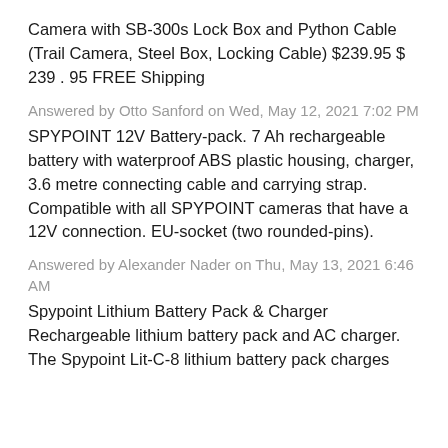Camera with SB-300s Lock Box and Python Cable (Trail Camera, Steel Box, Locking Cable) $239.95 $ 239 . 95 FREE Shipping
Answered by Otto Sanford on Wed, May 12, 2021 7:02 PM
SPYPOINT 12V Battery-pack. 7 Ah rechargeable battery with waterproof ABS plastic housing, charger, 3.6 metre connecting cable and carrying strap. Compatible with all SPYPOINT cameras that have a 12V connection. EU-socket (two rounded-pins).
Answered by Alexander Nader on Thu, May 13, 2021 6:46 AM
Spypoint Lithium Battery Pack & Charger Rechargeable lithium battery pack and AC charger. The Spypoint Lit-C-8 lithium battery pack charges